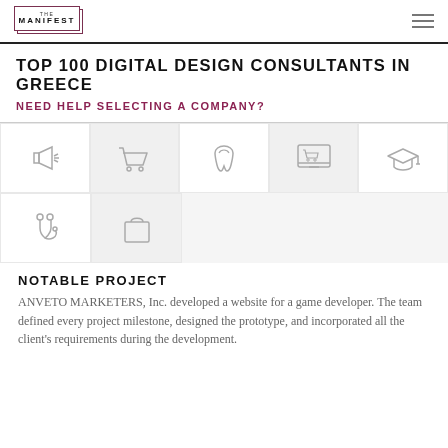THE MANIFEST
TOP 100 DIGITAL DESIGN CONSULTANTS IN GREECE
NEED HELP SELECTING A COMPANY?
[Figure (illustration): Row of industry icons: megaphone/advertising, shopping cart/ecommerce, tooth/dental, computer monitor with cart/ecommerce, graduation cap/education; second row: stethoscope/medical, shopping bag/retail]
NOTABLE PROJECT
ANVETO MARKETERS, Inc. developed a website for a game developer. The team defined every project milestone, designed the prototype, and incorporated all the client's requirements during the development.